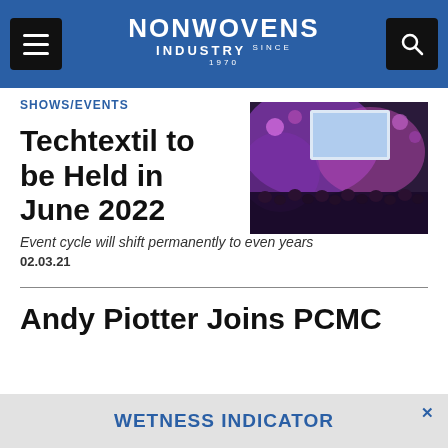NONWOVENS INDUSTRY
SHOWS/EVENTS
[Figure (photo): Conference hall with purple lighting, audience and a large projection screen]
Techtextil to be Held in June 2022
Event cycle will shift permanently to even years
02.03.21
Andy Piotter Joins PCMC
WETNESS INDICATOR